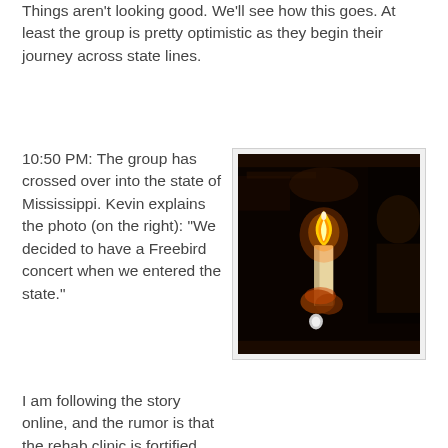Things aren't looking good. We'll see how this goes. At least the group is pretty optimistic as they begin their journey across state lines.
10:50 PM: The group has crossed over into the state of Mississippi. Kevin explains the photo (on the right): "We decided to have a Freebird concert when we entered the state."
[Figure (photo): A dark photograph showing a candle flame being held in a car interior at night, with a person's face partially visible on the right side.]
I am following the story online, and the rumor is that the rehab clinic is fortified due to immense media presence. Things are not looking good for the group in their search for gossip magazine gold